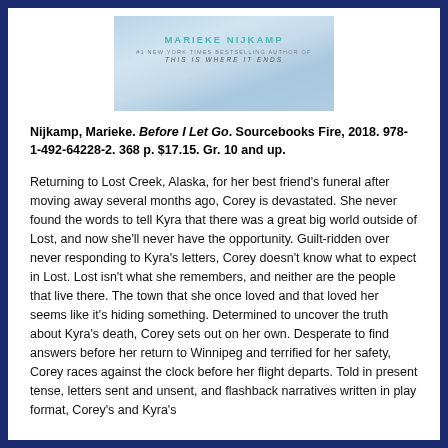[Figure (illustration): Book cover for 'Before I Let Go' by Marieke Nijkamp, light blue/wintry background with author name in teal letters and subtitle '#1 New York Times Bestselling Author of This Is Where It Ends']
Nijkamp, Marieke. Before I Let Go. Sourcebooks Fire, 2018. 978-1-492-64228-2. 368 p. $17.15. Gr. 10 and up.
Returning to Lost Creek, Alaska, for her best friend's funeral after moving away several months ago, Corey is devastated. She never found the words to tell Kyra that there was a great big world outside of Lost, and now she'll never have the opportunity. Guilt-ridden over never responding to Kyra's letters, Corey doesn't know what to expect in Lost. Lost isn't what she remembers, and neither are the people that live there. The town that she once loved and that loved her seems like it's hiding something. Determined to uncover the truth about Kyra's death, Corey sets out on her own. Desperate to find answers before her return to Winnipeg and terrified for her safety, Corey races against the clock before her flight departs. Told in present tense, letters sent and unsent, and flashback narratives written in play format, Corey's and Kyra's